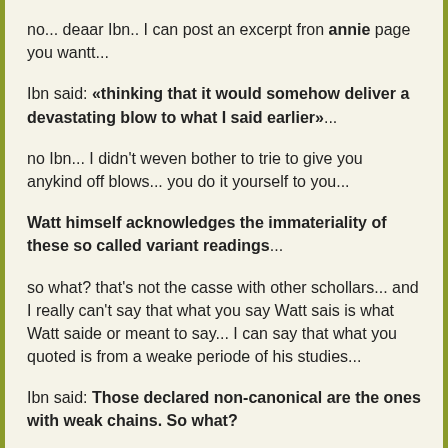no... deaar Ibn.. I can post an excerpt fron annie page you wantt...
Ibn said: «thinking that it would somehow deliver a devastating blow to what I said earlier»...
no Ibn... I didn't weven bother to trie to give you anykind off blows... you do it yourself to you...
Watt himself acknowledges the immateriality of these so called variant readings...
so what? that's not the casse with other schollars... and I really can't say that what you say Watt sais is what Watt saide or meant to say... I can say that what you quoted is from a weake periode of his studies...
Ibn said: Those declared non-canonical are the ones with weak chains. So what?
looool... the fonny hadiths are the ones who camme from fonny Qura'an versions... that's a joke... could you